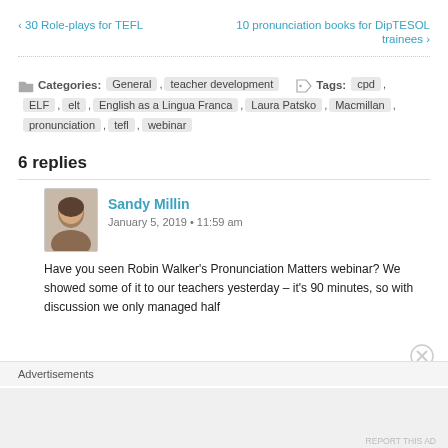‹ 30 Role-plays for TEFL
10 pronunciation books for DipTESOL trainees ›
Categories: General , teacher development   Tags: cpd , ELF , elt , English as a Lingua Franca , Laura Patsko , Macmillan , pronunciation , tefl , webinar
6 replies
Sandy Millin
January 5, 2019 • 11:59 am
Have you seen Robin Walker's Pronunciation Matters webinar? We showed some of it to our teachers yesterday – it's 90 minutes, so with discussion we only managed half
Advertisements
REPORT THIS AD